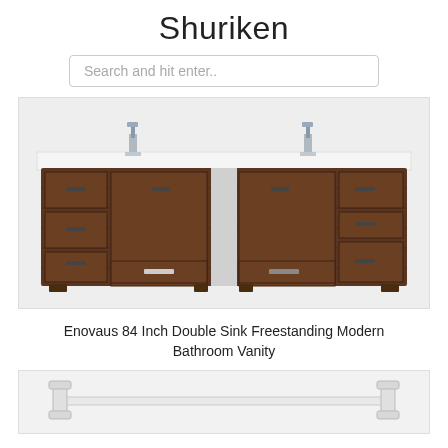Shuriken
Search and hit enter..
[Figure (photo): Enovaus 84 Inch Double Sink Freestanding Modern Bathroom Vanity - dark walnut wood double vanity with two chrome faucets, multiple drawers and cabinet doors]
Enovaus 84 Inch Double Sink Freestanding Modern Bathroom Vanity
[Figure (photo): Partial view of a white towel bar or bathroom rack accessory]